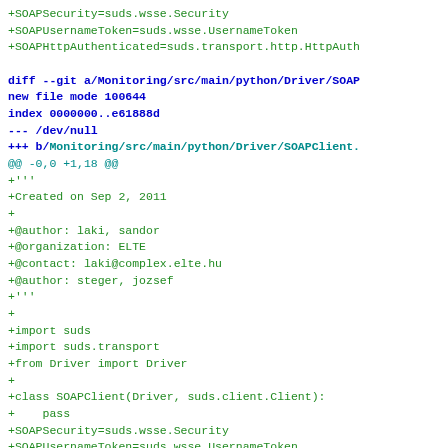+SOAPSecurity=suds.wsse.Security
+SOAPUsernameToken=suds.wsse.UsernameToken
+SOAPHttpAuthenticated=suds.transport.http.HttpAuth
diff --git a/Monitoring/src/main/python/Driver/SOAP
new file mode 100644
index 0000000..e61888d
--- /dev/null
+++ b/Monitoring/src/main/python/Driver/SOAPClient.
@@ -0,0 +1,18 @@
+'''
+Created on Sep 2, 2011
+
+@author: laki, sandor
+@organization: ELTE
+@contact: laki@complex.elte.hu
+@author: steger, jozsef
+'''
+
+import suds
+import suds.transport
+from Driver import Driver
+
+class SOAPClient(Driver, suds.client.Client):
+    pass
+SOAPSecurity=suds.wsse.Security
+SOAPUsernameToken=suds.wsse.UsernameToken
+SOAPHttpAuthenticated=suds.transport.http.HttpAuth
diff --git a/Monitoring/src/main/python/Driver/SshE